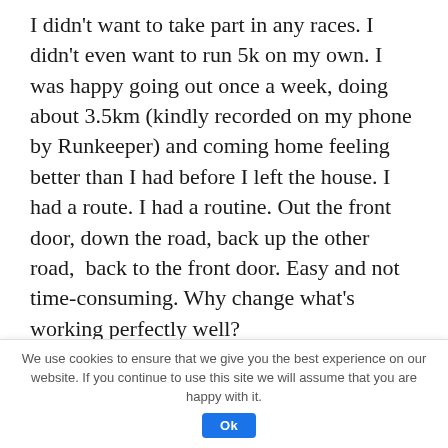I didn't want to take part in any races. I didn't even want to run 5k on my own. I was happy going out once a week, doing about 3.5km (kindly recorded on my phone by Runkeeper) and coming home feeling better than I had before I left the house. I had a route. I had a routine. Out the front door, down the road, back up the other road,  back to the front door. Easy and not time-consuming. Why change what's working perfectly well?
Admittedly, after a while it become a bit of a chore and a bit boring – the early novelty wore
We use cookies to ensure that we give you the best experience on our website. If you continue to use this site we will assume that you are happy with it. Ok